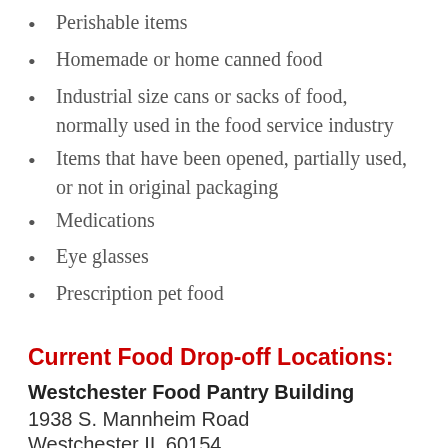Perishable items
Homemade or home canned food
Industrial size cans or sacks of food, normally used in the food service industry
Items that have been opened, partially used, or not in original packaging
Medications
Eye glasses
Prescription pet food
Current Food Drop-off Locations:
Westchester Food Pantry Building
1938 S. Mannheim Road
Westchester IL 60154